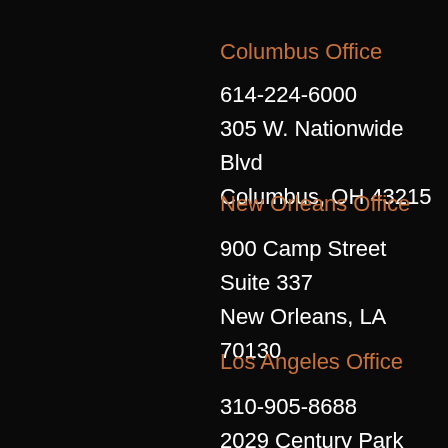Columbus Office
614-224-6000
305 W. Nationwide Blvd
Columbus, OH 43215
New Orleans Office
900 Camp Street
Suite 337
New Orleans, LA 70130
Los Angeles Office
310-905-8688
2029 Century Park East,
Suite 400N